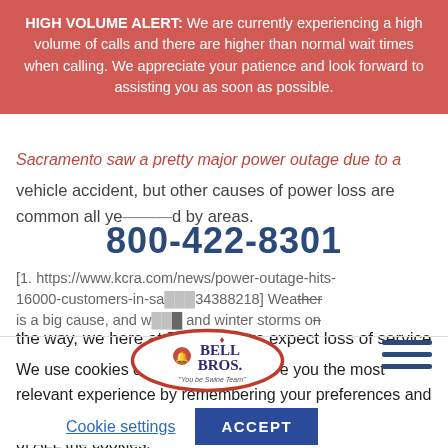HIGH VOLUME ALERT: We are currently experiencing a high volume of calls and there are higher than normal wait times when calling. We appreciate your patience and look forward to assisting you as soon as possible.
Sacramento saw a pretty major power outage due to a vehicle accident, but other causes of power loss are common all year round in nearby areas. [1. https://www.kcra.com/news/power-outage-hits-16000-customers-in-sa...34388218] Weather is a big cause, and with... and winter storms on the way, we here at Bell Brothers expect loss of service at least a few times. And loss of power is a serious issue. no matter what the cause.
800-422-8301
[Figure (logo): Bell Bros logo - oval shaped logo with red border and text 'Bell Bros.' with tagline]
We use cookies on our website to give you the most relevant experience by remembering your preferences and repeat visits. By clicking “Accept”, you consent to the use of ALL the cookies.
Cookie settings
ACCEPT